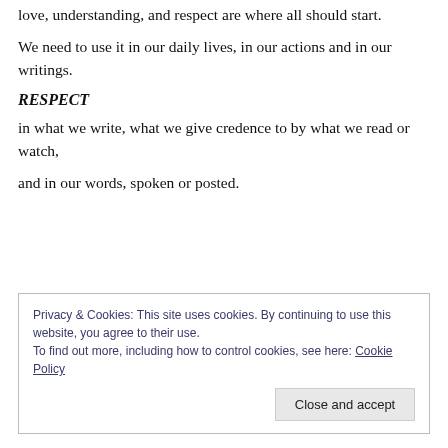love, understanding, and respect are where all should start.
We need to use it in our daily lives, in our actions and in our writings.
RESPECT
in what we write, what we give credence to by what we read or watch,
and in our words, spoken or posted.
Privacy & Cookies: This site uses cookies. By continuing to use this website, you agree to their use. To find out more, including how to control cookies, see here: Cookie Policy